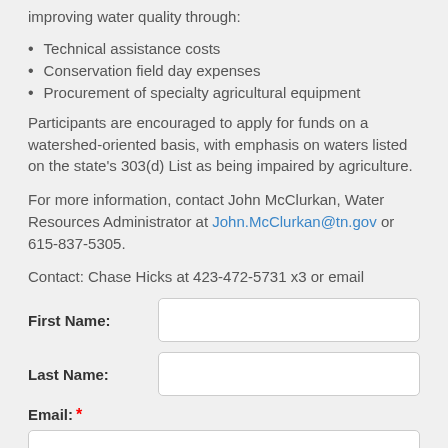improving water quality through:
Technical assistance costs
Conservation field day expenses
Procurement of specialty agricultural equipment
Participants are encouraged to apply for funds on a watershed-oriented basis, with emphasis on waters listed on the state's 303(d) List as being impaired by agriculture.
For more information, contact John McClurkan, Water Resources Administrator at John.McClurkan@tn.gov or 615-837-5305.
Contact: Chase Hicks at 423-472-5731 x3 or email
First Name:
Last Name:
Email: *